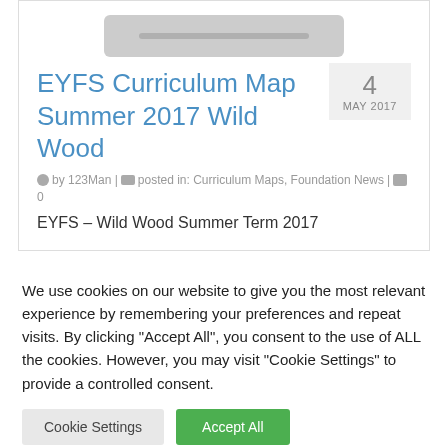[Figure (other): Gray rounded rectangle placeholder image at top of card]
EYFS Curriculum Map Summer 2017 Wild Wood
4 MAY 2017
by 123Man | posted in: Curriculum Maps, Foundation News | 0
EYFS – Wild Wood Summer Term 2017
We use cookies on our website to give you the most relevant experience by remembering your preferences and repeat visits. By clicking "Accept All", you consent to the use of ALL the cookies. However, you may visit "Cookie Settings" to provide a controlled consent.
Cookie Settings
Accept All
Translate »